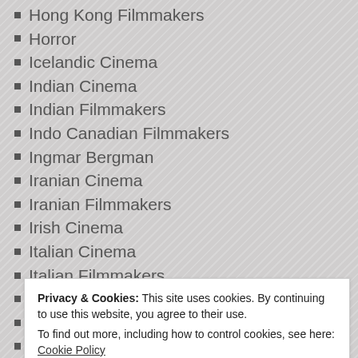Hong Kong Filmmakers
Horror
Icelandic Cinema
Indian Cinema
Indian Filmmakers
Indo Canadian Filmmakers
Ingmar Bergman
Iranian Cinema
Iranian Filmmakers
Irish Cinema
Italian Cinema
Italian Filmmakers
Jafar Panahi
Jane Campion
Japanese Cinema
Privacy & Cookies: This site uses cookies. By continuing to use this website, you agree to their use.
To find out more, including how to control cookies, see here: Cookie Policy
John Landis